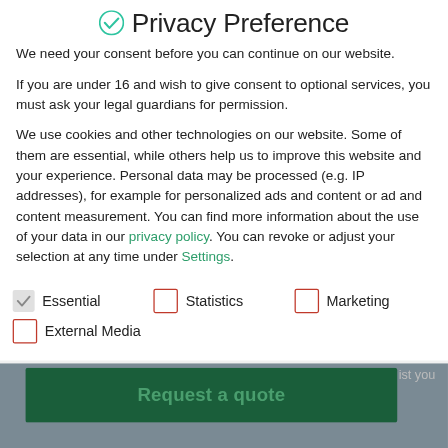Privacy Preference
We need your consent before you can continue on our website.
If you are under 16 and wish to give consent to optional services, you must ask your legal guardians for permission.
We use cookies and other technologies on our website. Some of them are essential, while others help us to improve this website and your experience. Personal data may be processed (e.g. IP addresses), for example for personalized ads and content or ad and content measurement. You can find more information about the use of your data in our privacy policy. You can revoke or adjust your selection at any time under Settings.
Essential (checked)
Statistics (unchecked)
Marketing (unchecked)
External Media (unchecked)
[Figure (screenshot): Green 'Request a quote' button on dark green background, partially visible below the privacy modal]